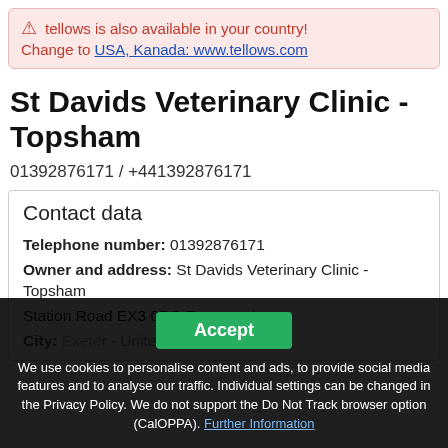⚠ tellows is also available in your country! Change to USA, Kanada: www.tellows.com
St Davids Veterinary Clinic - Topsham
01392876171 / +441392876171
Contact data
Telephone number: 01392876171
Owner and address: St Davids Veterinary Clinic - Topsham
Station Road EX3 0DS Exeter
City: Exeter - United Kingdom
Accept
We use cookies to personalise content and ads, to provide social media features and to analyse our traffic. Individual settings can be changed in the Privacy Policy. We do not support the Do Not Track browser option (CalOPPA). Further Information